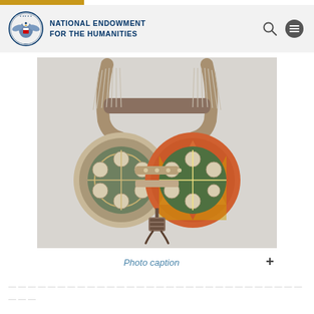NATIONAL ENDOWMENT FOR THE HUMANITIES
[Figure (photo): A Native American artifact — a painted rawhide saddle bag or ceremonial pouch with two round decorated discs featuring circular geometric patterns in green, red, orange and white, connected by leather straps, with fringe hanging from a curved wooden or bone handle at top. A small rectangular object hangs at the bottom center.]
Photo caption
...